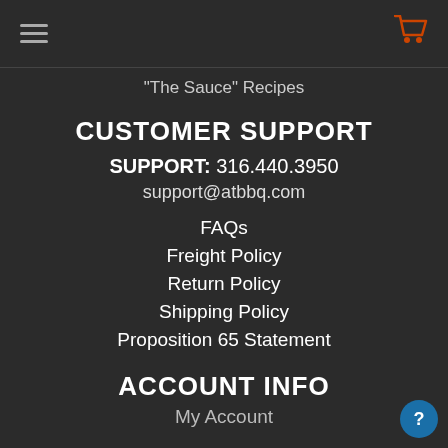hamburger menu | cart icon
"The Sauce" Recipes
CUSTOMER SUPPORT
SUPPORT: 316.440.3950
support@atbbq.com
FAQs
Freight Policy
Return Policy
Shipping Policy
Proposition 65 Statement
ACCOUNT INFO
My Account